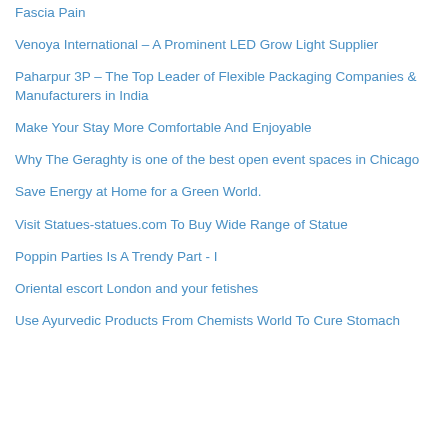Fascia Pain
Venoya International – A Prominent LED Grow Light Supplier
Paharpur 3P – The Top Leader of Flexible Packaging Companies & Manufacturers in India
Make Your Stay More Comfortable And Enjoyable
Why The Geraghty is one of the best open event spaces in Chicago
Save Energy at Home for a Green World.
Visit Statues-statues.com To Buy Wide Range of Statue
Poppin Parties Is A Trendy Part - I
Oriental escort London and your fetishes
Use Ayurvedic Products From Chemists World To Cure Stomach